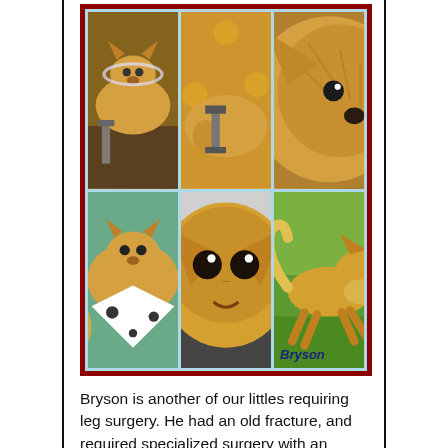[Figure (photo): A 2x3 photo collage of a Pomeranian dog named Bryson. The collage has a dark red/maroon border and light blue background. Top row: dog outdoors with an external leg fixator, dog receiving veterinary care, close-up of dog's fur/face. Bottom row: dog lying with a cone/bandana, close-up of dog's face on a dark blanket, dog running on grass. The name 'Bryson' appears in bold dark blue italic text in the bottom-right photo.]
Bryson is another of our littles requiring leg surgery. He had an old fracture, and required specialized surgery with an external fixture. He's a young, spirited boy and it was quite the task to keep him from running for 3 months. He just wanted to chase and rumble and jump! He came through it all and is happily running